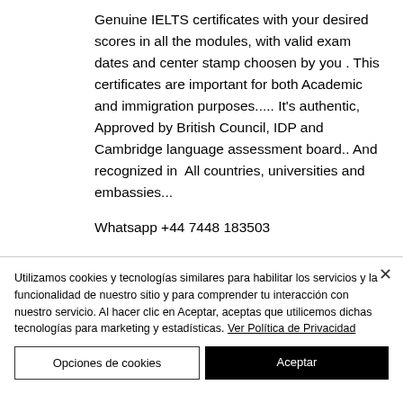Genuine IELTS certificates with your desired scores in all the modules, with valid exam dates and center stamp choosen by you . This certificates are important for both Academic and immigration purposes..... It's authentic, Approved by British Council, IDP and Cambridge language assessment board.. And recognized in  All countries, universities and embassies...
Whatsapp +44 7448 183503
Utilizamos cookies y tecnologías similares para habilitar los servicios y la funcionalidad de nuestro sitio y para comprender tu interacción con nuestro servicio. Al hacer clic en Aceptar, aceptas que utilicemos dichas tecnologías para marketing y estadísticas. Ver Política de Privacidad